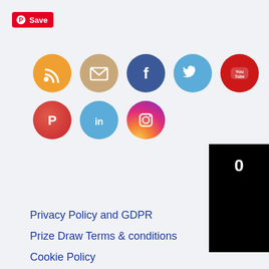[Figure (screenshot): Pinterest Save button with red background and white text]
[Figure (infographic): Social media icons including RSS, Email, Facebook, Twitter, YouTube, Pinterest, LinkedIn, Instagram arranged in two rows of circular icons]
[Figure (screenshot): Black counter box showing the number 0]
Privacy Policy and GDPR
Prize Draw Terms & conditions
Cookie Policy
Terms and conditions for live broadcasts